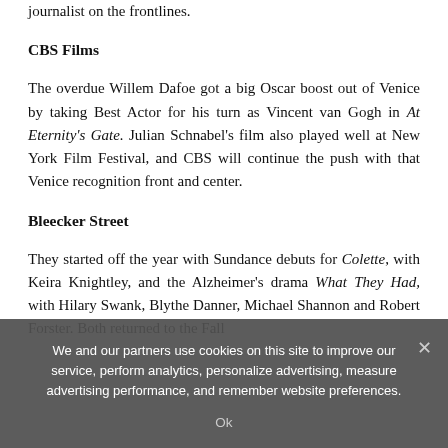journalist on the frontlines.
CBS Films
The overdue Willem Dafoe got a big Oscar boost out of Venice by taking Best Actor for his turn as Vincent van Gogh in At Eternity's Gate. Julian Schnabel's film also played well at New York Film Festival, and CBS will continue the push with that Venice recognition front and center.
Bleecker Street
They started off the year with Sundance debuts for Colette, with Keira Knightley, and the Alzheimer's drama What They Had, with Hilary Swank, Blythe Danner, Michael Shannon and Robert Forster. Both returned to the Fall
We and our partners use cookies on this site to improve our service, perform analytics, personalize advertising, measure advertising performance, and remember website preferences.